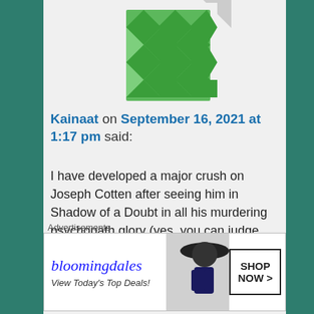[Figure (illustration): Green geometric pattern avatar/icon for user Kainaat]
Kainaat on September 16, 2021 at 1:17 pm said:
I have developed a major crush on Joseph Cotten after seeing him in Shadow of a Doubt in all his murdering psychopath glory (yes, you can judge me!). So of course I watched a bunch of his movies, I love him as a leading man and he's also a good character actor. Do you have suggestions? I'm gonna
Advertisements
[Figure (other): Bloomingdale's advertisement banner: logo, 'View Today's Top Deals!' tagline, woman with hat, SHOP NOW button]